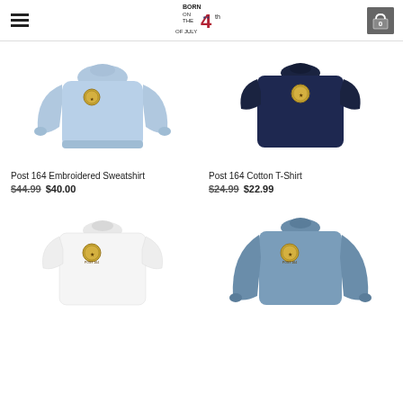Born on the 4th of July logo, hamburger menu, cart icon
[Figure (photo): Light blue embroidered sweatshirt with Post 164 logo patch on chest]
[Figure (photo): Navy cotton t-shirt (back view) with Post 164 logo patch]
Post 164 Embroidered Sweatshirt
$44.99  $40.00
Post 164 Cotton T-Shirt
$24.99  $22.99
[Figure (photo): White cotton t-shirt with Post 164 logo patch on chest]
[Figure (photo): Steel blue long-sleeve t-shirt with Post 164 logo patch on chest]